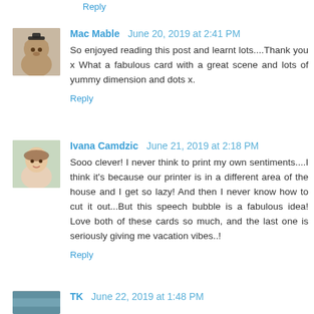Reply
Mac Mable  June 20, 2019 at 2:41 PM
So enjoyed reading this post and learnt lots....Thank you x What a fabulous card with a great scene and lots of yummy dimension and dots x.
Reply
Ivana Camdzic  June 21, 2019 at 2:18 PM
Sooo clever! I never think to print my own sentiments....I think it's because our printer is in a different area of the house and I get so lazy! And then I never know how to cut it out...But this speech bubble is a fabulous idea! Love both of these cards so much, and the last one is seriously giving me vacation vibes..!
Reply
TK  June 22, 2019 at 1:48 PM